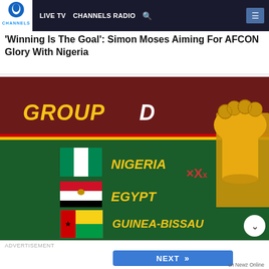LIVE TV  CHANNELS RADIO
'Winning Is The Goal': Simon Moses Aiming For AFCON Glory With Nigeria
[Figure (infographic): AFCON Group D draw infographic on dark green background showing GROUP D text in yellow/bold, with flags and country names: Nigeria, Egypt, Sudan, Guinea-Bissau, alongside a golden AFCON trophy on the right side.]
ADVERTISEMENT
NEXT »
on Newz Online